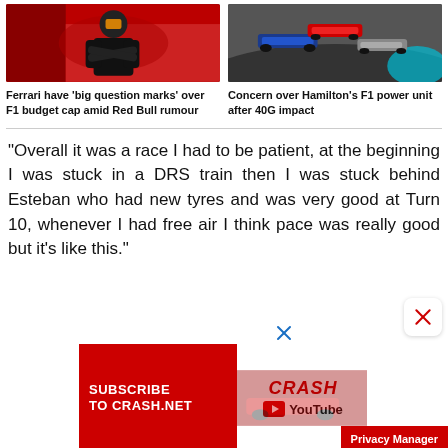[Figure (photo): Ferrari driver in red race suit standing with arms crossed]
[Figure (photo): F1 cars racing on track, multiple cars visible]
Ferrari have 'big question marks' over F1 budget cap amid Red Bull rumour
Concern over Hamilton's F1 power unit after 40G impact
“Overall it was a race I had to be patient, at the beginning I was stuck in a DRS train then I was stuck behind Esteban who had new tyres and was very good at Turn 10, whenever I had free air I think pace was really good but it’s like this.”
[Figure (advertisement): Subscribe to Crash.net YouTube channel advertisement banner with red background]